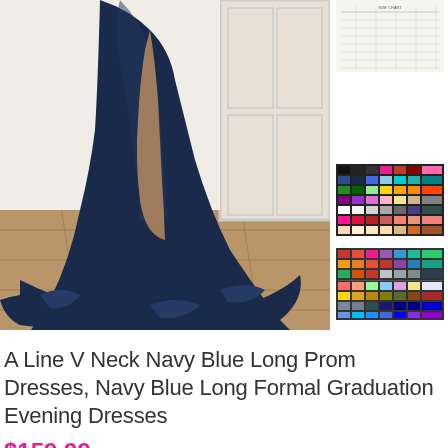[Figure (photo): A navy blue A-line prom dress with V-neck and high slit, shown from mid-body down, with a long train spread on a wooden floor in front of white doors]
[Figure (photo): Small thumbnail showing a size/measurement chart grid]
[Figure (photo): Small thumbnail showing a color swatch chart with multiple fabric colors]
[Figure (photo): Small thumbnail showing another color swatch chart]
A Line V Neck Navy Blue Long Prom Dresses, Navy Blue Long Formal Graduation Evening Dresses
$159.99